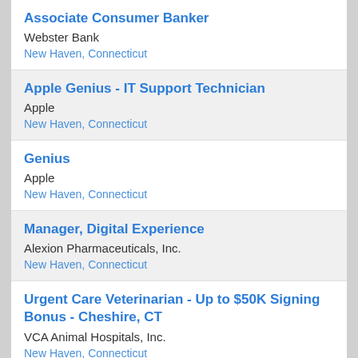Associate Consumer Banker
Webster Bank
New Haven, Connecticut
Apple Genius - IT Support Technician
Apple
New Haven, Connecticut
Genius
Apple
New Haven, Connecticut
Manager, Digital Experience
Alexion Pharmaceuticals, Inc.
New Haven, Connecticut
Urgent Care Veterinarian - Up to $50K Signing Bonus - Cheshire, CT
VCA Animal Hospitals, Inc.
New Haven, Connecticut